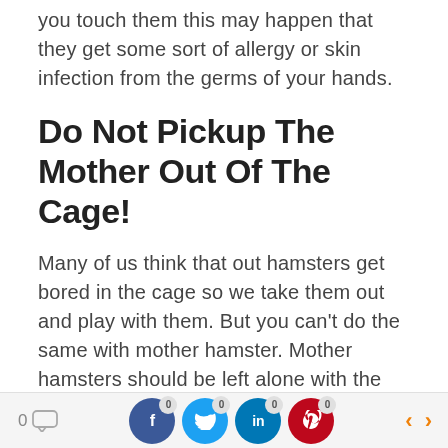you touch them this may happen that they get some sort of allergy or skin infection from the germs of your hands.
Do Not Pickup The Mother Out Of The Cage!
Many of us think that out hamsters get bored in the cage so we take them out and play with them. But you can't do the same with mother hamster. Mother hamsters should be left alone with the baby hamsters while she is taking care of them. That is natural if you feel she must be
0 [comment] [f 0] [t 0] [in 0] [p 0] < >